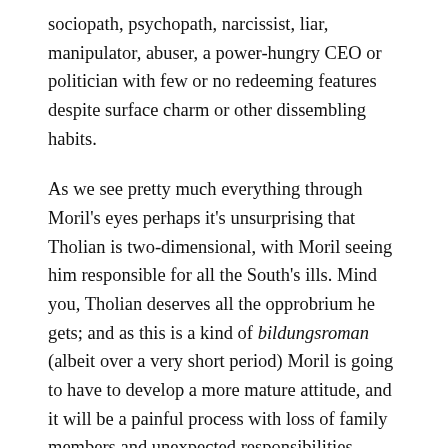sociopath, psychopath, narcissist, liar, manipulator, abuser, a power-hungry CEO or politician with few or no redeeming features despite surface charm or other dissembling habits.
As we see pretty much everything through Moril's eyes perhaps it's unsurprising that Tholian is two-dimensional, with Moril seeing him responsible for all the South's ills. Mind you, Tholian deserves all the opprobrium he gets; and as this is a kind of bildungsroman (albeit over a very short period) Moril is going to have to develop a more mature attitude, and it will be a painful process with loss of family members and unexpected responsibilities.